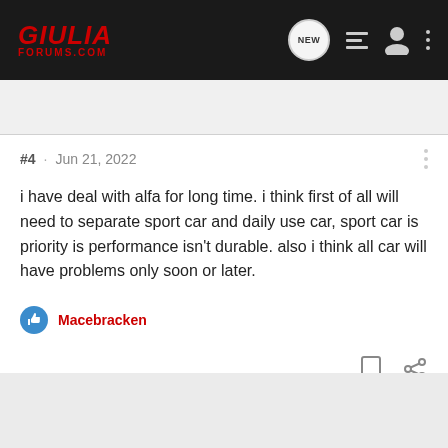GIULIA FORUMS.COM
#4 · Jun 21, 2022
i have deal with alfa for long time. i think first of all will need to separate sport car and daily use car, sport car is priority is performance isn't durable. also i think all car will have problems only soon or later.
Macebracken